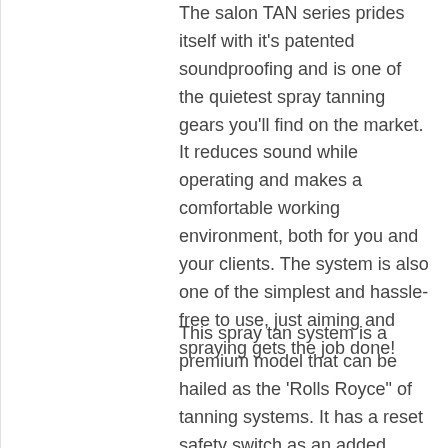The salon TAN series prides itself with it's patented soundproofing and is one of the quietest spray tanning gears you'll find on the market. It reduces sound while operating and makes a comfortable working environment, both for you and your clients. The system is also one of the simplest and hassle-free to use, just aiming and spraying gets the job done!
This spray tan system is a premium model that can be hailed as the 'Rolls Royce" of tanning systems. It has a reset safety switch as an added safety measure and also comes with washable and replaceable air filter. The Fuji Spray Heat Dissipation Box™ is also one of the new